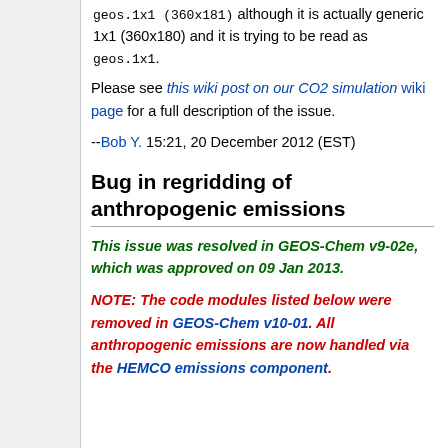geos.1x1 (360x181) although it is actually generic 1x1 (360x180) and it is trying to be read as geos.1x1.
Please see this wiki post on our CO2 simulation wiki page for a full description of the issue.
--Bob Y. 15:21, 20 December 2012 (EST)
Bug in regridding of anthropogenic emissions
This issue was resolved in GEOS-Chem v9-02e, which was approved on 09 Jan 2013.
NOTE: The code modules listed below were removed in GEOS-Chem v10-01. All anthropogenic emissions are now handled via the HEMCO emissions component.